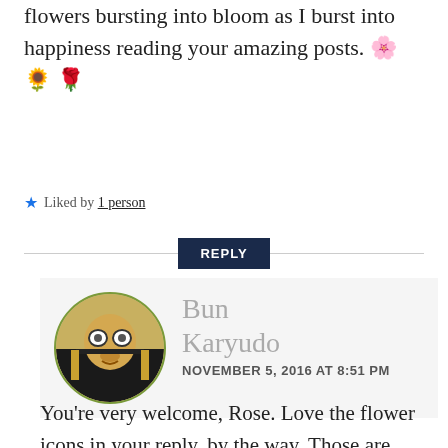flowers bursting into bloom as I burst into happiness reading your amazing posts. 🌸 🌻 🌹
★ Liked by 1 person
REPLY
[Figure (photo): Round avatar photo of a cartoon/illustrated character wearing glasses and a suit, styled in sepia tones]
Bun Karyudo
NOVEMBER 5, 2016 AT 8:51 PM
You're very welcome, Rose. Love the flower icons in your reply, by the way. Those are